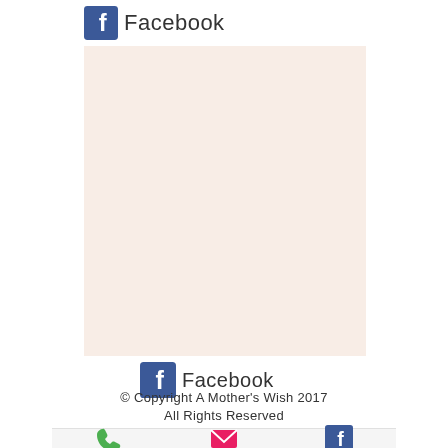[Figure (logo): Facebook logo with blue 'f' icon and 'Facebook' text at top of page]
[Figure (illustration): Large cream/peach colored rectangular box, approximately 282x310px]
[Figure (logo): Facebook logo with blue 'f' icon and 'Facebook' text at bottom center]
© Copyright A Mother's Wish 2017
All Rights Reserved
[Figure (infographic): Bottom toolbar with phone icon (green), email/envelope icon (pink/red), and Facebook icon (blue)]